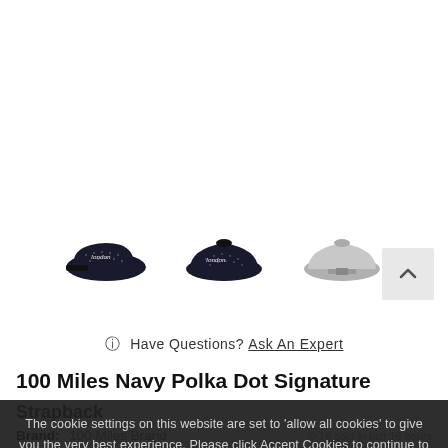[Figure (photo): Three product thumbnail images of a navy polka dot snapback hat: left-angle view, front view, and back view.]
Have Questions? Ask An Expert
100 Miles Navy Polka Dot Signature Strapback
The cookie settings on this website are set to 'allow all cookies' to give you the very best experience. Please click Accept Cookies to continue to use the site.
PRIVACY POLICY   ACCEPT ✓
16 sold in last 16 hours
Brand:  100 Miles Brand